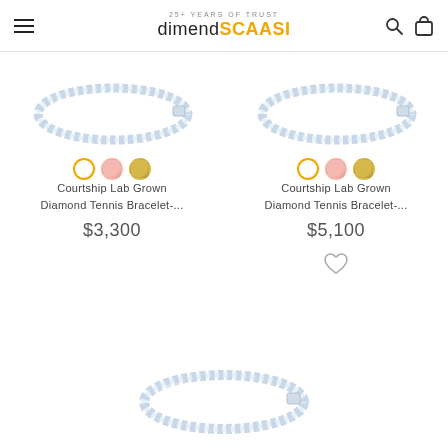dimendSCAASI — 25+ YEARS OF TRUST
[Figure (photo): Diamond tennis bracelet product photo, white gold, top-left product]
[Figure (illustration): Three metal color swatches: white (selected, outlined in gold), rose, yellow — left product]
Courtship Lab Grown Diamond Tennis Bracelet-...
$3,300
[Figure (photo): Diamond tennis bracelet product photo, white gold, top-right product]
[Figure (illustration): Three metal color swatches: white (selected, outlined in gold), rose, yellow — right product]
Courtship Lab Grown Diamond Tennis Bracelet-...
$5,100
[Figure (illustration): Heart/wishlist icon outline for right product]
[Figure (photo): Diamond tennis bracelet product photo, white gold, bottom center product]